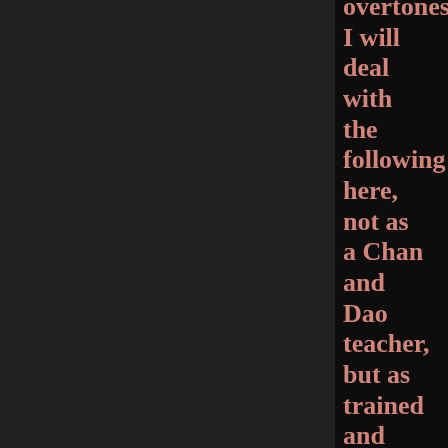overtones I will deal with the following here, not as a Chan and Dao teacher, but as trained and experienced psychologist and biologist in the United States